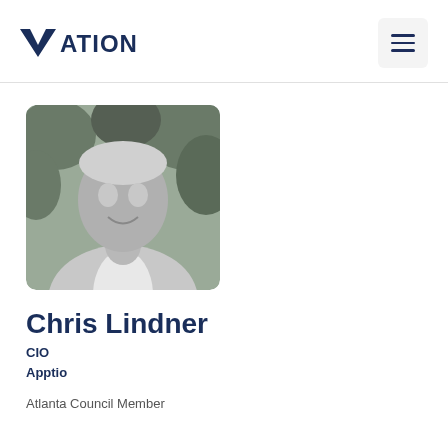Vation
[Figure (photo): Black and white portrait photo of Chris Lindner, a smiling man in a light blazer, with foliage in the background]
Chris Lindner
CIO
Apptio
Atlanta Council Member